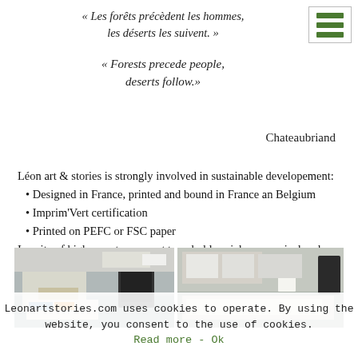[Figure (illustration): Green hamburger menu icon with three horizontal green bars inside a white box with thin border, top right corner]
« Les forêts précèdent les hommes, les déserts les suivent. »
« Forests precede people, deserts follow.»
Chateaubriand
Léon art & stories is strongly involved in sustainable developement:
Designed in France, printed and bound in France an Belgium
Imprim'Vert certification
Printed on PEFC or FSC paper
In spite of higher costs we want to uphold social, economical and sustainable values.
[Figure (photo): Two photographs side by side showing a printing/publishing workspace with documents, a monitor, and printed sheets on a table.]
Leonartstories.com uses cookies to operate. By using the website, you consent to the use of cookies. Read more - Ok